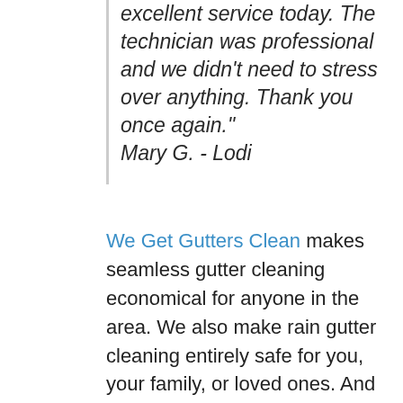excellent service today. The technician was professional and we didn't need to stress over anything. Thank you once again." Mary G. - Lodi
We Get Gutters Clean makes seamless gutter cleaning economical for anyone in the area. We also make rain gutter cleaning entirely safe for you, your family, or loved ones. And we make the whole process as basic as possible for you - you'll never need to waste time to get a call back or meet someone to get a quote from us. Lastly, we guarantee our work and are completely insured, offering you more comfort with our